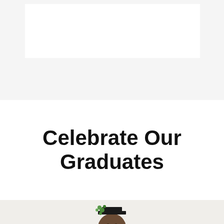[Figure (photo): White rectangular box on a light gray background at the top of the page]
Celebrate Our Graduates
[Figure (photo): Partial photo of a graduate wearing a cap with floral decoration, shown from shoulders up against a light beige background]